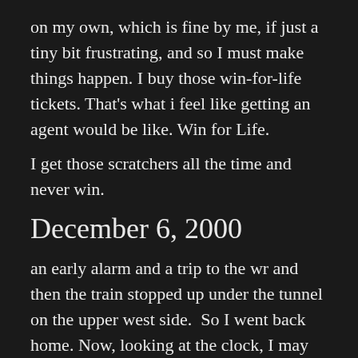on my own, which is fine by me, if just a tiny bit frustrating, and so I must make things happen. I buy those win-for-life tickets. That's what i feel like getting an agent would be like. Win for Life.
I get those scratchers all the time and never win.
December 6, 2000
an early alarm and a trip to the wr and then the train stopped up under the tunnel on the upper west side.  So I went back home. Now, looking at the clock, I may have still been there for 40 more minutes, but as a late-comer may not have